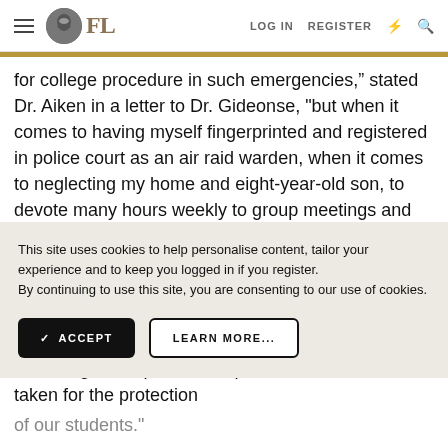FL | LOG IN | REGISTER
for college procedure in such emergencies," stated Dr. Aiken in a letter to Dr. Gideonse, "but when it comes to having myself fingerprinted and registered in police court as an air raid warden, when it comes to neglecting my home and eight-year-old son, to devote many hours weekly to group meetings and instruction in first aid, fire
This site uses cookies to help personalise content, tailor your experience and to keep you logged in if you register.
By continuing to use this site, you are consenting to our use of cookies.
oppose reappointment of any faculty member "unwilling to cooperate 100 percent in measures taken for the protection of our students."